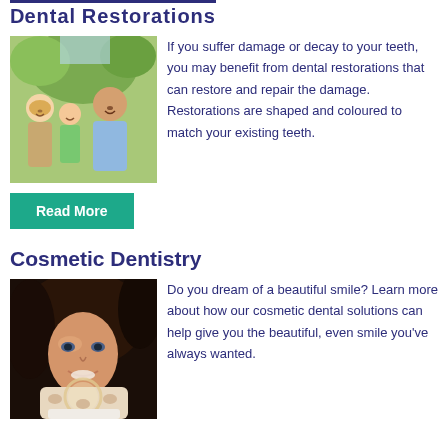[Figure (photo): A smiling family group — mother, child, and father — photographed outdoors]
If you suffer damage or decay to your teeth, you may benefit from dental restorations that can restore and repair the damage. Restorations are shaped and coloured to match your existing teeth.
Read More
Cosmetic Dentistry
[Figure (photo): A woman smiling and holding a dental aligner tray up to her face]
Do you dream of a beautiful smile? Learn more about how our cosmetic dental solutions can help give you the beautiful, even smile you've always wanted.